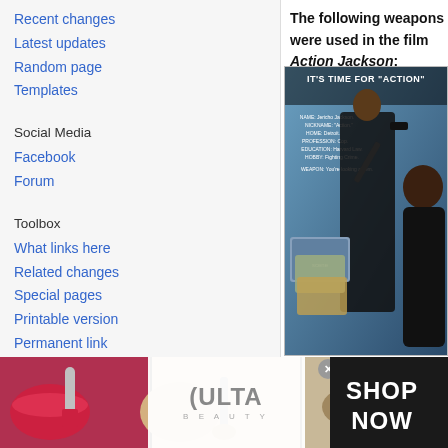Recent changes
Latest updates
Random page
Templates
Social Media
Facebook
Forum
Toolbox
What links here
Related changes
Special pages
Printable version
Permanent link
The following weapons were used in the film Action Jackson:
[Figure (photo): Movie poster for Action Jackson showing two people, one holding a gun, with text IT'S TIME FOR "ACTION" and character profile details]
[Figure (photo): Ulta Beauty advertisement banner with cosmetics imagery and SHOP NOW text]